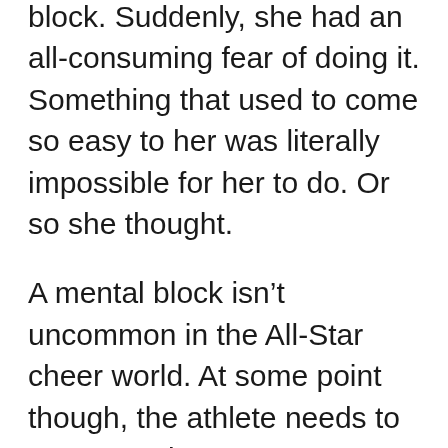block. Suddenly, she had an all-consuming fear of doing it. Something that used to come so easy to her was literally impossible for her to do.  Or so she thought.
A mental block isn't uncommon in the All-Star cheer world.  At some point though, the athlete needs to overcome it.
Both her coaches and her older sister (who is an also an All-Star cheerleader) worked with her in every way to get her to “just throw it.”  Over the past few weeks it’s been building, increasingly, until with